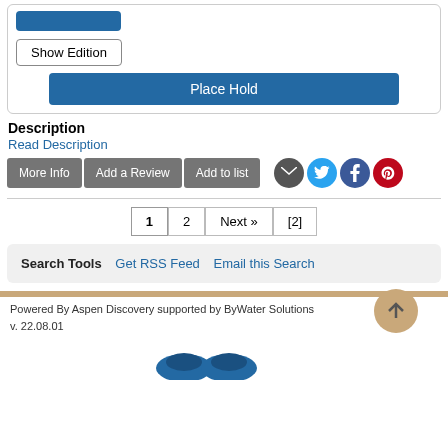[Figure (screenshot): UI card with Show Edition button and Place Hold button]
Description
Read Description
[Figure (screenshot): Action buttons: More Info, Add a Review, Add to list; social icons: email, twitter, facebook, pinterest]
[Figure (screenshot): Pagination: 1, 2, Next », [2]]
[Figure (screenshot): Search Tools box with Get RSS Feed and Email this Search links]
Powered By Aspen Discovery supported by ByWater Solutions v. 22.08.01
[Figure (logo): Partial logo at bottom of page]